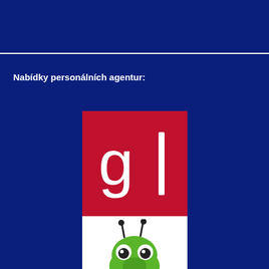Nabídky personálních agentur:
[Figure (logo): GI group logo — white 'g|' letters on a red square background]
[Figure (logo): Green cartoon giraffe/monster mascot logo on white background — partially visible]